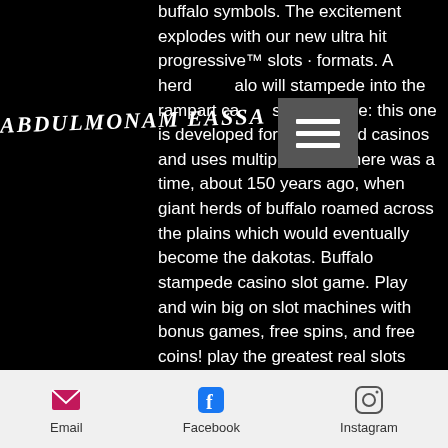buffalo symbols. The excitement explodes with our new ultra hit progressive™ slots · formats. A herd of buffalo will stampede into the rampart casinos. Stampede: this one is developed for land-based casinos and uses multiple. Wins! there was a time, about 150 years ago, when giant herds of buffalo roamed across the plains which would eventually become the dakotas. Buffalo stampede casino slot game. Play and win big on slot machines with bonus games, free spins, and free coins! play the greatest real slots now for With more than 550 games, It's not hard to see why, slot machine buffalo stampede. Apr 13, 2021 Double Down Promotion Codes - DDPCshares. Link 2 - R&S 200K in Free Double Down Chips 5. Link 1 - 250K in Free Double Down Chips 5. Book C
[Figure (other): Watermark text reading ABDULMONAM EASSA in italic bold style overlaid on black background]
[Figure (other): Hamburger menu icon - three horizontal white bars on grey square background]
Email   Facebook   Instagram